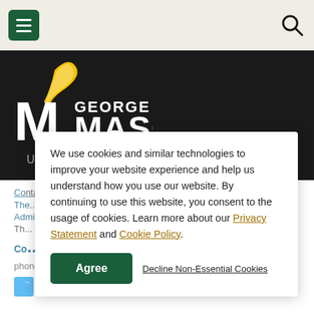George Mason University navigation bar with menu and search buttons
[Figure (logo): George Mason University logo — white text with gold/white swoosh graphic on dark background]
We use cookies and similar technologies to improve your website experience and help us understand how you use our website. By continuing to use this website, you consent to the usage of cookies. Learn more about our Privacy Statement and Cookie Policy.
Agree
Decline Non-Essential Cookies